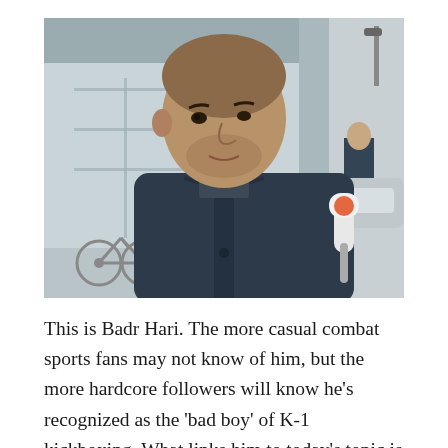[Figure (photo): A bald man wearing a dark navy blue zip-up hoodie/cardigan is being interviewed outdoors. He is holding or near a microphone. In the background is a modern building with large glass windows, a bicycle, and another person in a suit.]
This is Badr Hari. The more casual combat sports fans may not know of him, but the more hardcore followers will know he's recognized as the 'bad boy' of K-1 kickboxing. What links him to today's topic is the rivalry he shared with a